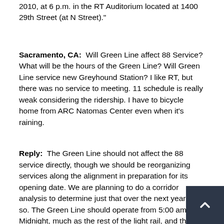2010, at 6 p.m. in the RT Auditorium located at 1400 29th Street (at N Street)."
Sacramento, CA:  Will Green Line affect 88 Service? What will be the hours of the Green Line? Will Green Line service new Greyhound Station? I like RT, but there was no service to meeting. 11 schedule is really weak considering the ridership. I have to bicycle home from ARC Natomas Center even when it's raining.
Reply:  The Green Line should not affect the 88 service directly, though we should be reorganizing services along the alignment in preparation for its opening date. We are planning to do a corridor analysis to determine just that over the next year or so. The Green Line should operate from 5:00 am to Midnight, much as the rest of the light rail, and the Sequoia Pacific station will be ideally located to serve the new Greyhound station. There is some likelihood that people will walk from the Township 9